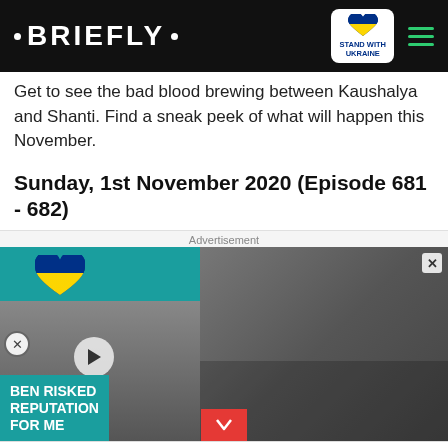• BRIEFLY •
Get to see the bad blood brewing between Kaushalya and Shanti. Find a sneak peek of what will happen this November.
Sunday, 1st November 2020 (Episode 681 - 682)
[Figure (screenshot): Advertisement banner with two parts: left side shows teal background with 'BEN RISKED REPUTATION FOR ME' text and two men photo with play button; right side shows people being helped in a war zone. Below is a Ukraine donation banner reading 'Help Protect Ukrainian Families' with a DONATE NOW button.]